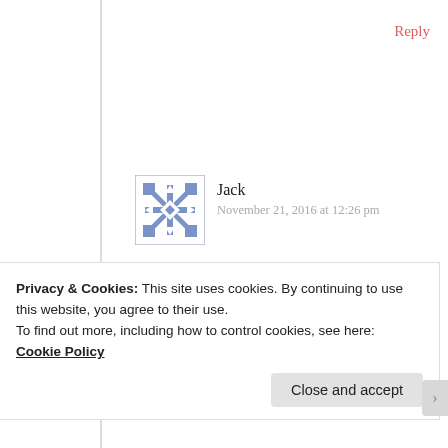Reply
Jack
November 21, 2016 at 12:26 pm
But does it really (stop with dragons and knights)? 🙂 I fantasize about who I could be (but am not), and get frustrated when the me who I am doesn't measure up to the me I fantasize about...and I get distracted from trying to move the me who I am
Privacy & Cookies: This site uses cookies. By continuing to use this website, you agree to their use.
To find out more, including how to control cookies, see here: Cookie Policy
Close and accept